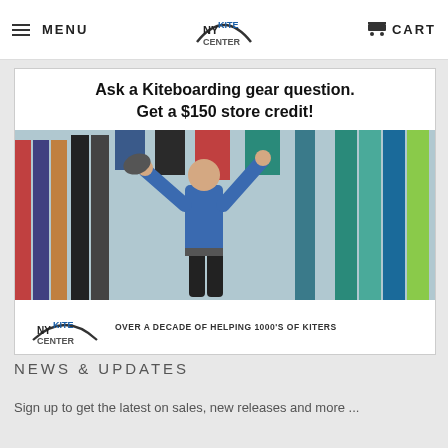MENU | NY KITE CENTER | CART
[Figure (photo): NY Kite Center promotional banner: 'Ask a Kiteboarding gear question. Get a $150 store credit!' with photo of instructor holding kiteboarding equipment in a shop, and NY Kite Center logo with tagline 'OVER A DECADE OF HELPING 1000'S OF KITERS']
NEWS & UPDATES
Sign up to get the latest on sales, new releases and more ...